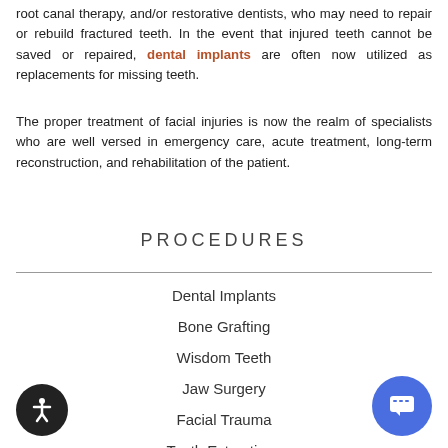root canal therapy, and/or restorative dentists, who may need to repair or rebuild fractured teeth. In the event that injured teeth cannot be saved or repaired, dental implants are often now utilized as replacements for missing teeth.
The proper treatment of facial injuries is now the realm of specialists who are well versed in emergency care, acute treatment, long-term reconstruction, and rehabilitation of the patient.
PROCEDURES
Dental Implants
Bone Grafting
Wisdom Teeth
Jaw Surgery
Facial Trauma
Tooth Extractions